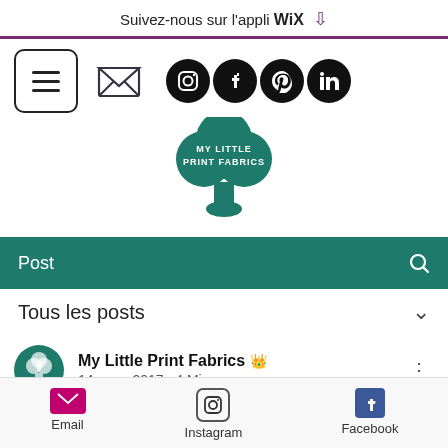Suivez-nous sur l'appli WIX
[Figure (screenshot): Navigation row with hamburger menu, envelope icon, and social media icons (Instagram, Facebook, Pinterest, LinkedIn)]
[Figure (logo): My Little Print Fabrics logo - teal tree/clover shape with text]
Post
Tous les posts
My Little Print Fabrics · 14 mars 2017 · 4 Min
Email  Instagram  Facebook